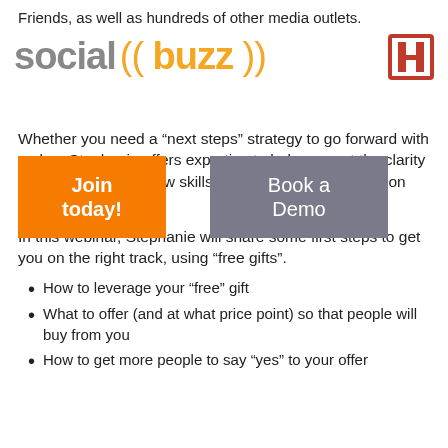Friends, as well as hundreds of other media outlets.
[Figure (logo): Social Buzz U logo with orange parentheses around 'buzz' and a red U letter icon]
Whether you need a “next steps” strategy to go forward with a plan, Stephanie offers expertise to help you get the clarity and direction (and new skills) you need to have to get on the success track.
In this webinar, Stephanie will share some first steps to get you on the right track, using “free gifts”.
How to leverage your “free” gift
What to offer (and at what price point) so that people will buy from you
How to get more people to say “yes” to your offer